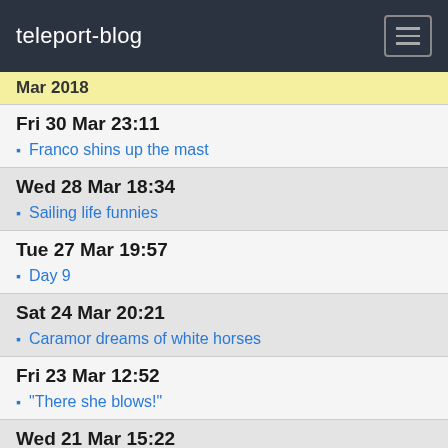teleport-blog
Mar 2018
Fri 30 Mar 23:11
Franco shins up the mast
Wed 28 Mar 18:34
Sailing life funnies
Tue 27 Mar 19:57
Day 9
Sat 24 Mar 20:21
Caramor dreams of white horses
Fri 23 Mar 12:52
"There she blows!"
Wed 21 Mar 15:22
North with the Humboldt
Mon 19 Mar 17:21
Back on the Ocean Blue
Sat 17 Mar 01:49